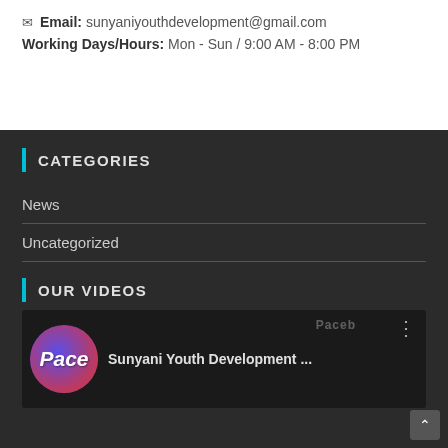📞 Email: sunyaniyouthdevelopment@gmail.com
Working Days/Hours: Mon - Sun / 9:00 AM - 8:00 PM
CATEGORIES
News
Uncategorized
OUR VIDEOS
[Figure (screenshot): YouTube video thumbnail for Sunyani Youth Development channel with Pace logo]